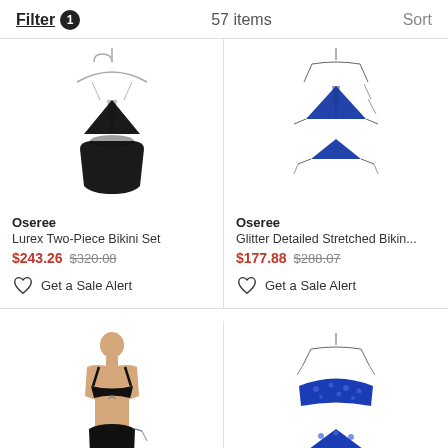Filter 1   57 items   Sort
[Figure (photo): Black Lurex two-piece bikini set on hanger, triangle top and high-waist bottom]
Oseree
Lurex Two-Piece Bikini Set
$243.26  $320.08
Get a Sale Alert
[Figure (photo): Blue glitter triangle bikini set with string ties, on hanger]
Oseree
Glitter Detailed Stretched Bikin...
$177.88  $288.07
Get a Sale Alert
[Figure (photo): Model wearing black bikini with ring cutout detail]
[Figure (photo): Blue patterned triangle bikini top with string ties, partially visible]